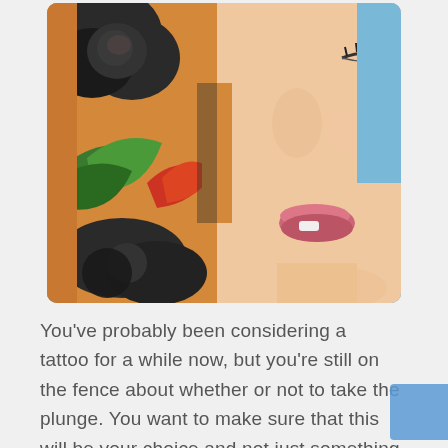[Figure (photo): Close-up photo of a woman's face in profile (eyes closed, pink lips) next to a heavily tattooed arm/shoulder featuring colorful traditional tattoo art including roses, clouds, and a dragon/bird design in black, green, orange and red against a blue sky background.]
You've probably been considering a tattoo for a while now, but you're still on the fence about whether or not to take the plunge. You want to make sure that this will be your choice and not just something that